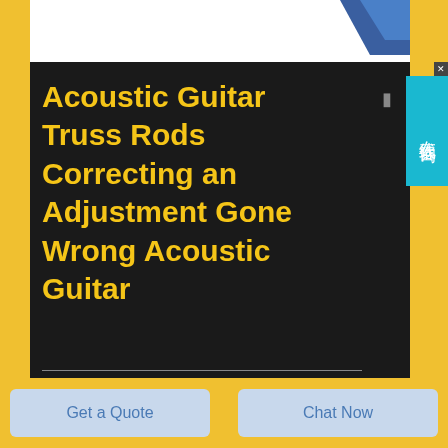[Figure (illustration): Partial blue diagonal graphic in white top strip area]
Acoustic Guitar Truss Rods Correcting an Adjustment Gone Wrong Acoustic Guitar
Contact: info.k@kellegco.com
Phone: +86 021 69113328
Whatsapp: +8617539592302
2020 3 13 nbsp 0183 32 What size truss rod wrench do you need for that guitar setup Music
Get a Quote
Chat Now